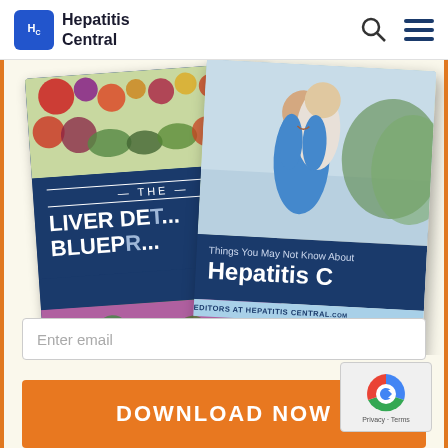Hepatitis Central
[Figure (illustration): Two book covers: 'The Liver Detox Blueprint' presented by liversupport, and 'Things You May Not Know About Hepatitis C' by Editors at HepatitiscentrAL.com]
Enter email
DOWNLOAD NOW